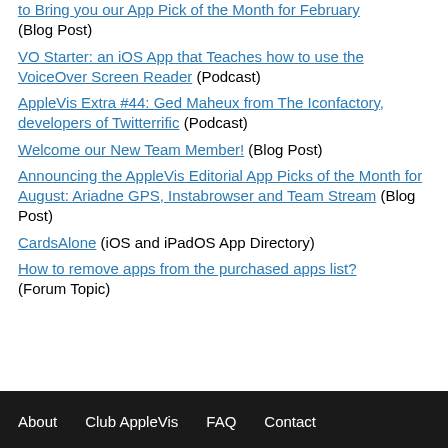to Bring you our App Pick of the Month for February (Blog Post)
VO Starter: an iOS App that Teaches how to use the VoiceOver Screen Reader (Podcast)
AppleVis Extra #44: Ged Maheux from The Iconfactory, developers of Twitterrific (Podcast)
Welcome our New Team Member! (Blog Post)
Announcing the AppleVis Editorial App Picks of the Month for August: Ariadne GPS, Instabrowser and Team Stream (Blog Post)
CardsAlone (iOS and iPadOS App Directory)
How to remove apps from the purchased apps list? (Forum Topic)
About   Club AppleVis   FAQ   Contact